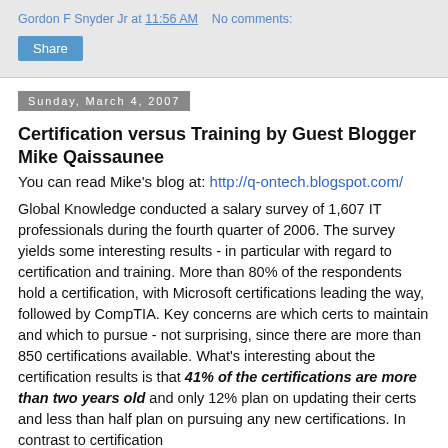Gordon F Snyder Jr at 11:56 AM    No comments:
Share
Sunday, March 4, 2007
Certification versus Training by Guest Blogger Mike Qaissaunee
You can read Mike's blog at: http://q-ontech.blogspot.com/
Global Knowledge conducted a salary survey of 1,607 IT professionals during the fourth quarter of 2006. The survey yields some interesting results - in particular with regard to certification and training. More than 80% of the respondents hold a certification, with Microsoft certifications leading the way, followed by CompTIA. Key concerns are which certs to maintain and which to pursue - not surprising, since there are more than 850 certifications available. What's interesting about the certification results is that 41% of the certifications are more than two years old and only 12% plan on updating their certs and less than half plan on pursuing any new certifications. In contrast to certification